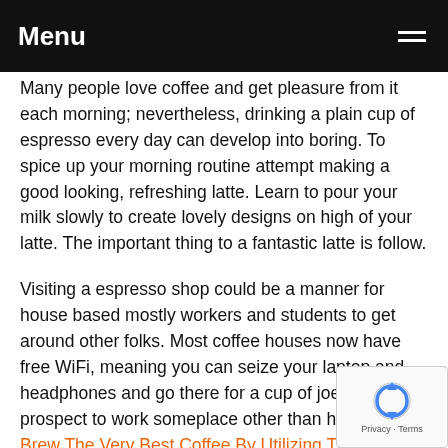Menu
Many people love coffee and get pleasure from it each morning; nevertheless, drinking a plain cup of espresso every day can develop into boring. To spice up your morning routine attempt making a good looking, refreshing latte. Learn to pour your milk slowly to create lovely designs on high of your latte. The important thing to a fantastic latte is follow.
Visiting a espresso shop could be a manner for house based mostly workers and students to get around other folks. Most coffee houses now have free WiFi, meaning you can seize your laptop and headphones and go there for a cup of joe and the prospect to work someplace other than home. Also, Brew The Very Best Coffee By Utilizing The Following Pointers ea... places have this feature as well.